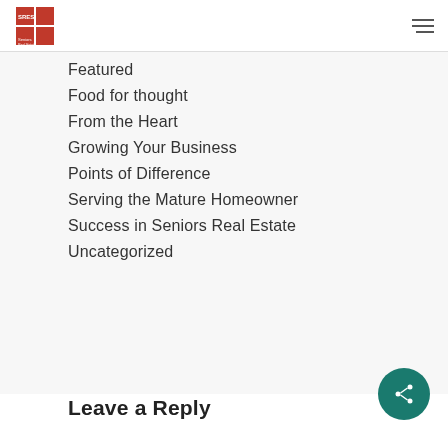SRES logo and navigation menu
Featured
Food for thought
From the Heart
Growing Your Business
Points of Difference
Serving the Mature Homeowner
Success in Seniors Real Estate
Uncategorized
Leave a Reply